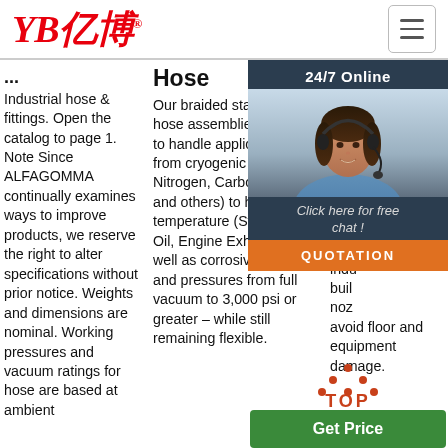[Figure (logo): YB亿博 logo in red italic text with registered trademark symbol]
[Figure (other): Hamburger menu button icon (three horizontal lines) in top right corner]
...
Hose
tube; white endm. rein tens cov hea ozo app cold dow and indu buil noz avoid floor and equipment damage.
Industrial hose & fittings. Open the catalog to page 1. Note Since ALFAGOMMA continually examines ways to improve products, we reserve the right to alter specifications without prior notice. Weights and dimensions are nominal. Working pressures and vacuum ratings for hose are based at ambient
Our braided stainless steel hose assemblies are able to handle applications from cryogenic (Liquid Nitrogen, Carbon Dioxide and others) to high temperature (Steam, Hot Oil, Engine Exhaust), as well as corrosive media and pressures from full vacuum to 3,000 psi or greater – while still remaining flexible.
[Figure (photo): 24/7 Online chat widget with photo of a woman wearing a headset, dark background overlay with 'Click here for free chat!' text and orange QUOTATION button]
[Figure (other): TOP badge with red dotted triangle and 'TOP' text in red/gold, and a green 'Get Price' button below]